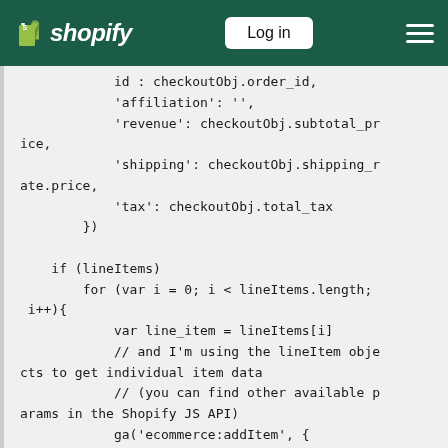Shopify — Log in
id : checkoutObj.order_id,
            'affiliation': '',
            'revenue': checkoutObj.subtotal_price,
            'shipping': checkoutObj.shipping_rate.price,
            'tax': checkoutObj.total_tax
        })

    if (lineItems)
        for (var i = 0; i < lineItems.length; i++){
            var line_item = lineItems[i]
            // and I'm using the lineItem objects to get individual item data
            // (you can find other available params in the Shopify JS API)
            ga('ecommerce:addItem', {